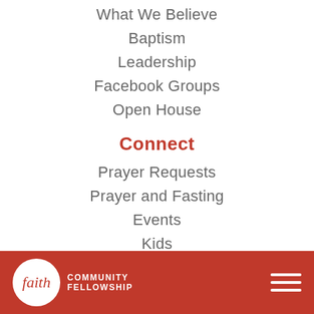What We Believe
Baptism
Leadership
Facebook Groups
Open House
Connect
Prayer Requests
Prayer and Fasting
Events
Kids
Students
Life Groups
Outreach
faith COMMUNITY FELLOWSHIP